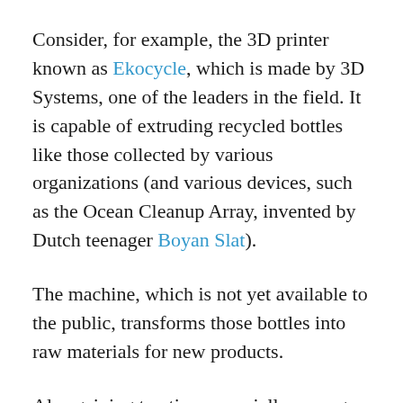Consider, for example, the 3D printer known as Ekocycle, which is made by 3D Systems, one of the leaders in the field. It is capable of extruding recycled bottles like those collected by various organizations (and various devices, such as the Ocean Cleanup Array, invented by Dutch teenager Boyan Slat).
The machine, which is not yet available to the public, transforms those bottles into raw materials for new products.
Also gaining traction, especially among manufacturers seeking greater cost-effectiveness, is the concept of sustainability through 3D printing. The Bio-Shelters Project